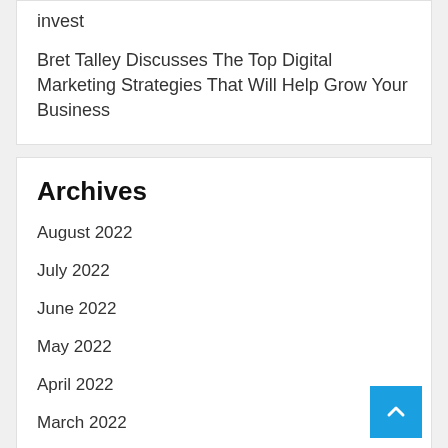invest
Bret Talley Discusses The Top Digital Marketing Strategies That Will Help Grow Your Business
Archives
August 2022
July 2022
June 2022
May 2022
April 2022
March 2022